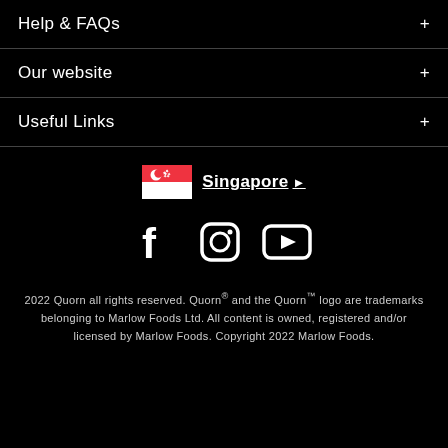Help & FAQs
Our website
Useful Links
[Figure (infographic): Singapore flag icon with country selector label 'Singapore' and right arrow, plus social media icons for Facebook, Instagram, and YouTube]
2022 Quorn all rights reserved. Quorn® and the Quorn™ logo are trademarks belonging to Marlow Foods Ltd. All content is owned, registered and/or licensed by Marlow Foods. Copyright 2022 Marlow Foods.